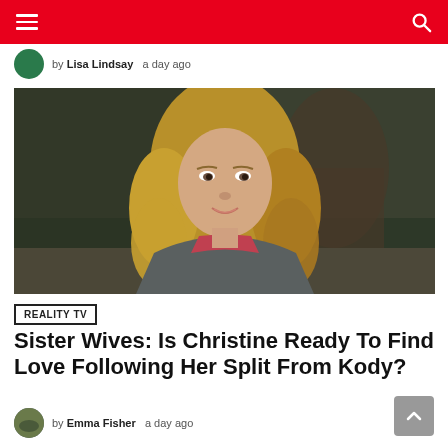Navigation header with hamburger menu and search icon
by Lisa Lindsay · a day ago
[Figure (photo): Woman with long blonde wavy hair wearing a grey cardigan over a pink/red top, seated in a casual interview-style setting with dark background]
REALITY TV
Sister Wives: Is Christine Ready To Find Love Following Her Split From Kody?
by Emma Fisher · a day ago